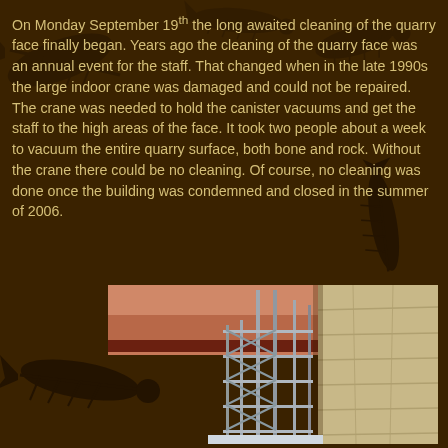On Monday September 19th the long awaited cleaning of the quarry face finally began. Years ago the cleaning of the quarry face was an annual event for the staff. That changed when in the late 1990s the large indoor crane was damaged and could not be repaired. The crane was needed to hold the canister vacuums and get the staff to the high areas of the face. It took two people about a week to vacuum the entire quarry surface, both bone and rock. Without the crane there could be no cleaning. Of course, no cleaning was done once the building was condemned and closed in the summer of 2006.
[Figure (photo): Interior view of large building showing metal scaffolding erected against a quarry stone wall, with pinkish-tan ceiling visible above.]